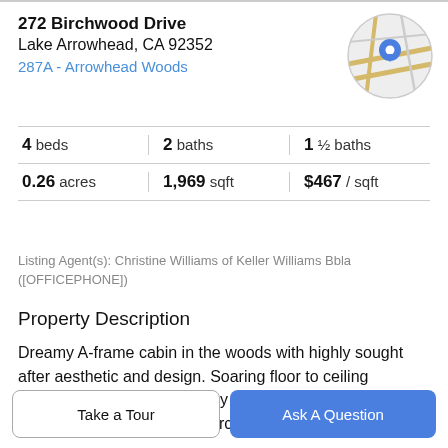272 Birchwood Drive
Lake Arrowhead, CA 92352
287A - Arrowhead Woods
[Figure (map): Circular map thumbnail showing street map with blue location pin marker]
|  |  |  |
| --- | --- | --- |
| 4 beds | 2 baths | 1 ½ baths |
| 0.26 acres | 1,969 sqft | $467 / sqft |
Listing Agent(s): Christine Williams of Keller Williams Bbla ([OFFICEPHONE])
Property Description
Dreamy A-frame cabin in the woods with highly sought after aesthetic and design. Soaring floor to ceiling windows amongst the canopy of pines. Tastefully renovated to keep with the architectural integrity. Rare
Take a Tour
Ask A Question